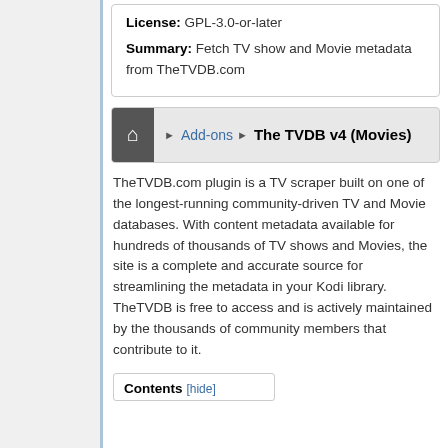License: GPL-3.0-or-later
Summary: Fetch TV show and Movie metadata from TheTVDB.com
[Figure (other): Breadcrumb navigation bar with home icon, Add-ons link, and The TVDB v4 (Movies) current page]
TheTVDB.com plugin is a TV scraper built on one of the longest-running community-driven TV and Movie databases. With content metadata available for hundreds of thousands of TV shows and Movies, the site is a complete and accurate source for streamlining the metadata in your Kodi library. TheTVDB is free to access and is actively maintained by the thousands of community members that contribute to it.
Contents [hide]